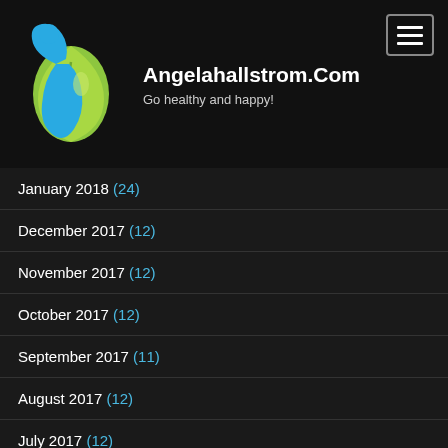[Figure (logo): Angelahallstrom.com logo: blue figure and green leaf droplet shape]
Angelahallstrom.Com
Go healthy and happy!
January 2018 (24)
December 2017 (12)
November 2017 (12)
October 2017 (12)
September 2017 (11)
August 2017 (12)
July 2017 (12)
June 2017 (13)